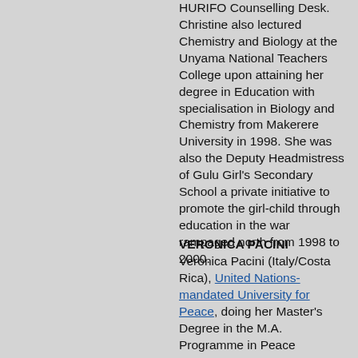HURIFO Counselling Desk. Christine also lectured Chemistry and Biology at the Unyama National Teachers College upon attaining her degree in Education with specialisation in Biology and Chemistry from Makerere University in 1998. She was also the Deputy Headmistress of Gulu Girl's Secondary School a private initiative to promote the girl-child through education in the war rampaged north from 1998 to 2000.
VERONICA PACINI
Veronica Pacini (Italy/Costa Rica), United Nations-mandated University for Peace, doing her Master's Degree in the M.A. Programme in Peace